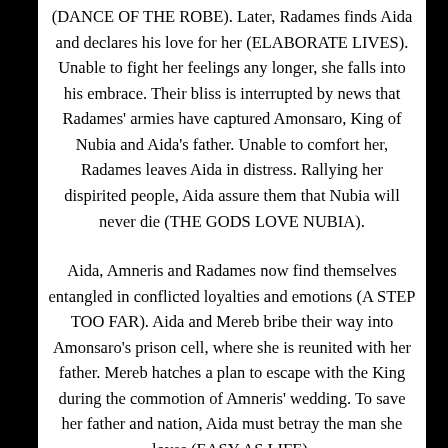(DANCE OF THE ROBE). Later, Radames finds Aida and declares his love for her (ELABORATE LIVES). Unable to fight her feelings any longer, she falls into his embrace. Their bliss is interrupted by news that Radames' armies have captured Amonsaro, King of Nubia and Aida's father. Unable to comfort her, Radames leaves Aida in distress. Rallying her dispirited people, Aida assure them that Nubia will never die (THE GODS LOVE NUBIA).
Aida, Amneris and Radames now find themselves entangled in conflicted loyalties and emotions (A STEP TOO FAR). Aida and Mereb bribe their way into Amonsaro's prison cell, where she is reunited with her father. Mereb hatches a plan to escape with the King during the commotion of Amneris' wedding. To save her father and nation, Aida must betray the man she loves (EASY AS LIFE).